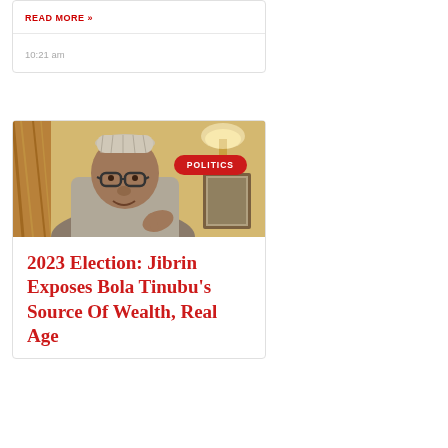READ MORE »
10:21 am
[Figure (photo): Man wearing traditional Nigerian cap and glasses, seated indoors near a lamp, gesturing while speaking]
2023 Election: Jibrin Exposes Bola Tinubu's Source Of Wealth, Real Age